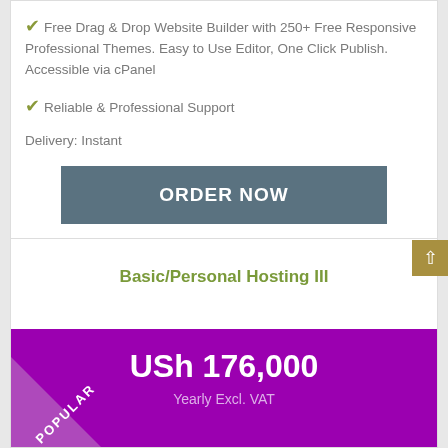Free Drag & Drop Website Builder with 250+ Free Responsive Professional Themes. Easy to Use Editor, One Click Publish. Accessible via cPanel
Reliable & Professional Support
Delivery: Instant
ORDER NOW
Basic/Personal Hosting III
POPULAR
USh 176,000
Yearly Excl. VAT